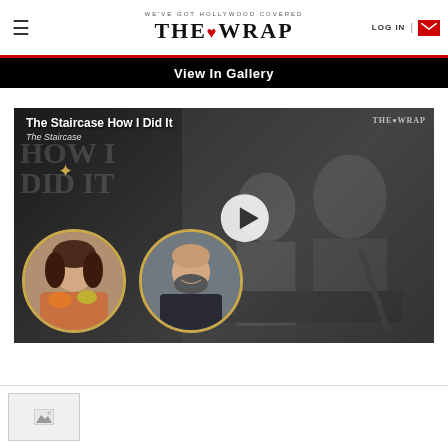WE'VE GOT HOLLYWOOD COVERED | THE WRAP | LOG IN
View In Gallery
[Figure (screenshot): Video thumbnail for 'The Staircase How I Did It' featuring two circular headshots of cast members with a play button overlay, on a dark background with courtroom drama imagery. TheWrap watermark visible in top right.]
[Figure (photo): Small thumbnail image at bottom of page, partially visible]